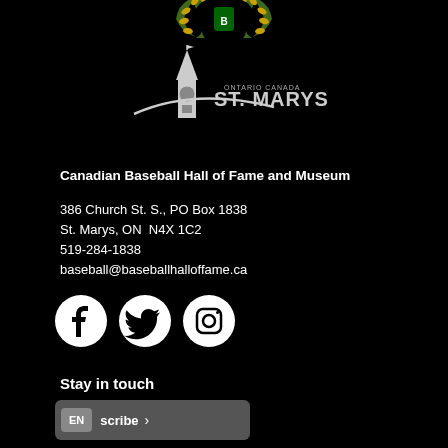[Figure (logo): Canadian Baseball Hall of Fame wreath/crest logo at top]
[Figure (logo): Town of St. Marys, Ontario Canada logo with clock tower illustration]
Canadian Baseball Hall of Fame and Museum
386 Church St. S., PO Box 1838
St. Marys, ON  N4X 1C2
519-284-1838
baseball@baseballhalloffame.ca
[Figure (other): Social media icons: Facebook, Twitter, Instagram (white circles on black background)]
Stay in touch
[Figure (screenshot): Subscribe button with EN language badge and arrow]